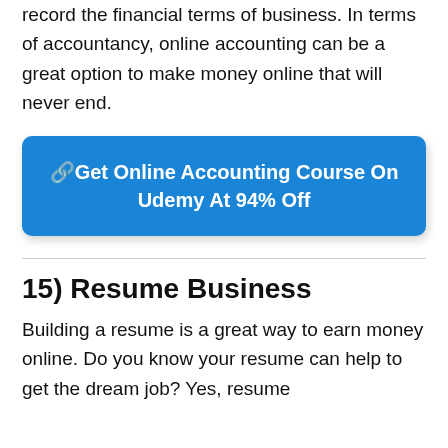record the financial terms of business. In terms of accountancy, online accounting can be a great option to make money online that will never end.
[Figure (other): Blue button: '🔗Get Online Accounting Course On Udemy At 94% Off']
15) Resume Business
Building a resume is a great way to earn money online. Do you know your resume can help to get the dream job? Yes, resume